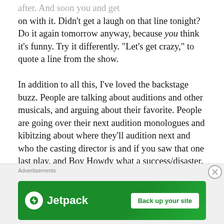after. And soon you and get on with it. Didn't get a laugh on that line tonight? Do it again tomorrow anyway, because you think it's funny. Try it differently. “Let’s get crazy,” to quote a line from the show.
In addition to all this, I’ve loved the backstage buzz. People are talking about auditions and other musicals, and arguing about their favorite. People are going over their next audition monologues and kibitzing about where they’ll audition next and who the casting director is and if you saw that one last play, and Boy Howdy what a success/disaster.
[Figure (infographic): Jetpack advertisement banner with green background, Jetpack logo (white circle with lightning bolt), text 'Jetpack', and button 'Back up your site']